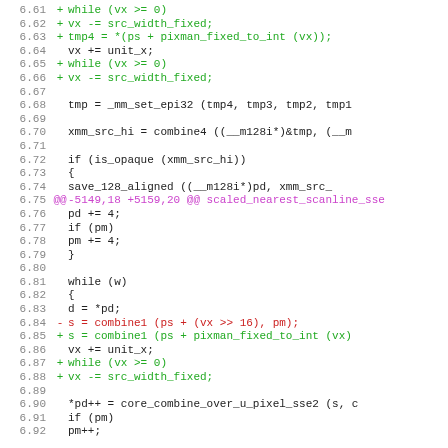Code diff showing lines 6.61-6.92 of a C source file with additions (green), deletions (red), and a hunk header (purple) for scaled_nearest_scanline_sse function.